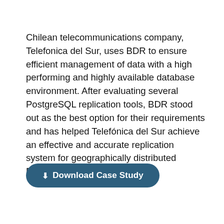Chilean telecommunications company, Telefonica del Sur, uses BDR to ensure efficient management of data with a high performing and highly available database environment. After evaluating several PostgreSQL replication tools, BDR stood out as the best option for their requirements and has helped Telefónica del Sur achieve an effective and accurate replication system for geographically distributed Postgres databases.
⬇ Download Case Study